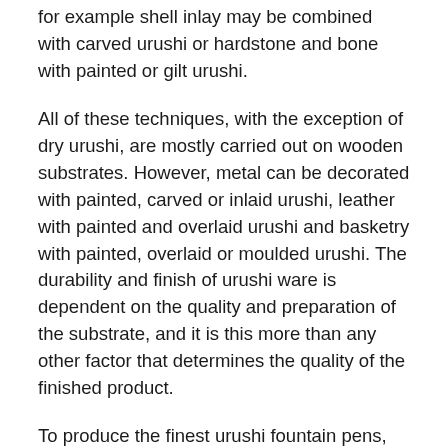for example shell inlay may be combined with carved urushi or hardstone and bone with painted or gilt urushi.
All of these techniques, with the exception of dry urushi, are mostly carried out on wooden substrates. However, metal can be decorated with painted, carved or inlaid urushi, leather with painted and overlaid urushi and basketry with painted, overlaid or moulded urushi. The durability and finish of urushi ware is dependent on the quality and preparation of the substrate, and it is this more than any other factor that determines the quality of the finished product.
To produce the finest urushi fountain pens, many stages of coating and polishing are required, with a drying period of one to five days between each one.
For lacquering Manu Propria fountain pens in my atelier, the finished ebonite parts undergo a minimum of 19 working steps